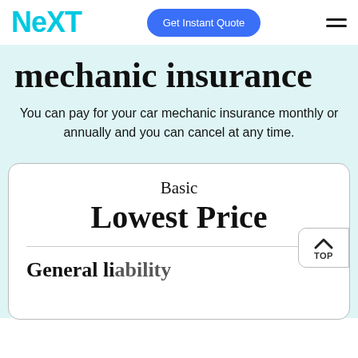[Figure (logo): NEXT Insurance logo in cyan/teal color]
Get Instant Quote
mechanic insurance
You can pay for your car mechanic insurance monthly or annually and you can cancel at any time.
Basic
Lowest Price
General liability (partially visible)